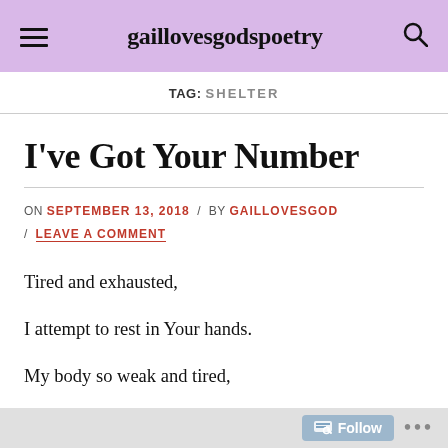gaillovesgodspoetry
TAG: SHELTER
I've Got Your Number
ON SEPTEMBER 13, 2018 / BY GAILLOVESGOD / LEAVE A COMMENT
Tired and exhausted,
I attempt to rest in Your hands.
My body so weak and tired,
Follow